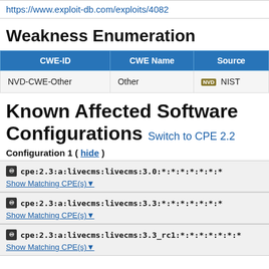https://www.exploit-db.com/exploits/4082
Weakness Enumeration
| CWE-ID | CWE Name | Source |
| --- | --- | --- |
| NVD-CWE-Other | Other | NVD NIST |
Known Affected Software Configurations Switch to CPE 2.2
Configuration 1 ( hide )
cpe:2.3:a:livecms:livecms:3.0:*:*:*:*:*:*:*
Show Matching CPE(s)▾
cpe:2.3:a:livecms:livecms:3.3:*:*:*:*:*:*:*
Show Matching CPE(s)▾
cpe:2.3:a:livecms:livecms:3.3_rc1:*:*:*:*:*:*:*
Show Matching CPE(s)▾